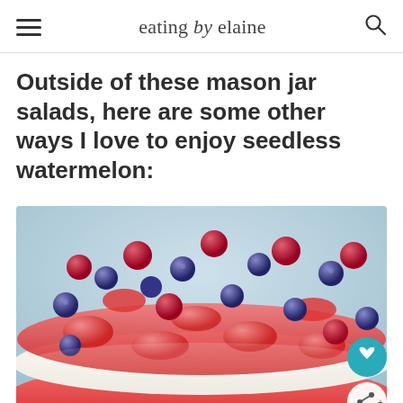eating by elaine
Outside of these mason jar salads, here are some other ways I love to enjoy seedless watermelon:
[Figure (photo): Close-up photo of a watermelon cake topped with white cream/frosting and covered with fresh blueberries, raspberries, and sliced strawberries. The watermelon slices are visible on the sides showing red flesh and green rind. Social sharing buttons (heart and share) are overlaid on the right side of the image.]